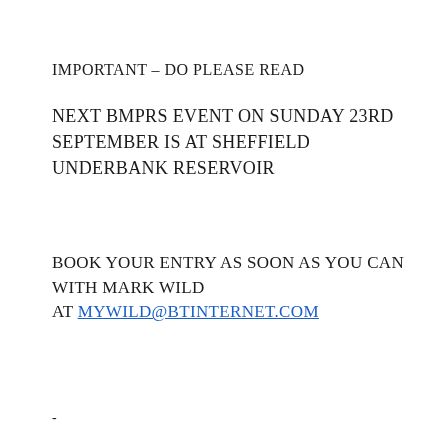IMPORTANT – DO PLEASE READ
NEXT BMPRS EVENT ON SUNDAY 23RD SEPTEMBER IS AT SHEFFIELD UNDERBANK RESERVOIR
BOOK YOUR ENTRY AS SOON AS YOU CAN WITH MARK WILD AT MYWILD@BTINTERNET.COM
-